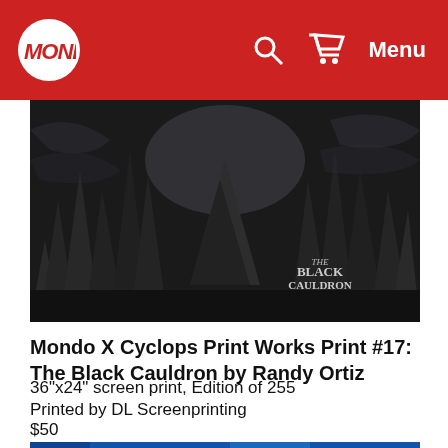Mondo (header with logo, search, cart, Menu)
[Figure (photo): Dark moody landscape illustration for The Black Cauldron movie poster, showing dark rocky spires and a mountain peak in grayscale tones with The Black Cauldron text in lower right]
Mondo X Cyclops Print Works Print #17: The Black Cauldron by Randy Ortiz
36"x24" screen print, Edition of 255
Printed by DL Screenprinting
$50
[Figure (photo): Partial view of another print at bottom, showing blue glowing artwork]